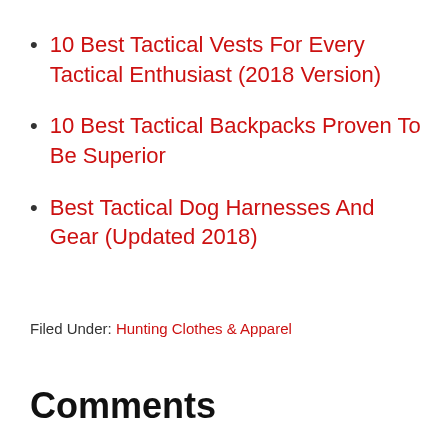10 Best Tactical Vests For Every Tactical Enthusiast (2018 Version)
10 Best Tactical Backpacks Proven To Be Superior
Best Tactical Dog Harnesses And Gear (Updated 2018)
Filed Under: Hunting Clothes & Apparel
Comments